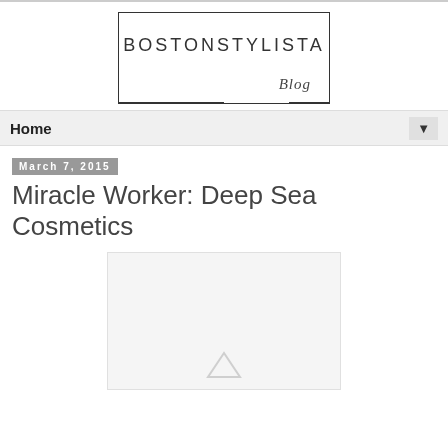[Figure (logo): BostonStylista Blog logo in a rectangular border with the word Blog in italic script at the bottom right]
Home
March 7, 2015
Miracle Worker: Deep Sea Cosmetics
[Figure (photo): Partially visible product image placeholder with a small triangle icon at the bottom center]